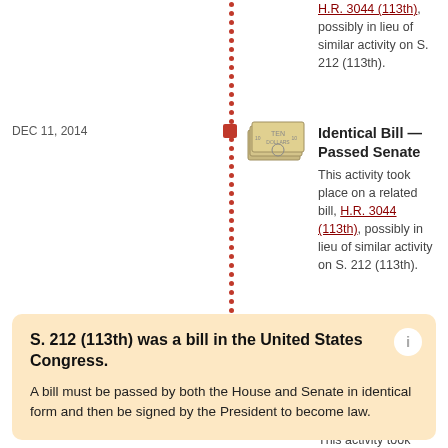H.R. 3044 (113th), possibly in lieu of similar activity on S. 212 (113th).
DEC 11, 2014 — Identical Bill — Passed Senate
This activity took place on a related bill, H.R. 3044 (113th), possibly in lieu of similar activity on S. 212 (113th).
DEC 18, 2014 — Identical Bill — Enacted — Signed by the President
This activity took place on a related bill, H.R. 3044 (113th), possibly in lieu of similar activity on S. 212 (113th).
S. 212 (113th) was a bill in the United States Congress. A bill must be passed by both the House and Senate in identical form and then be signed by the President to become law.